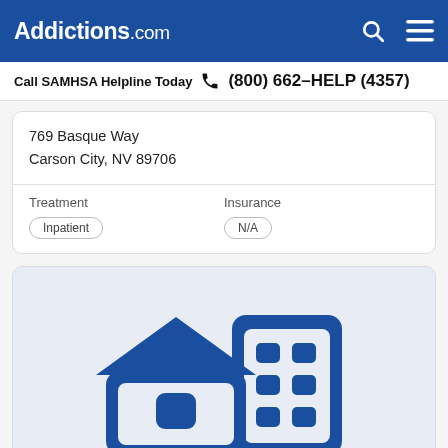Addictions.com
Call SAMHSA Helpline Today (800) 662-HELP (4357)
769 Basque Way
Carson City, NV 89706
Treatment: Inpatient | Insurance: N/A
[Figure (illustration): Blue icon of a house and a building/office block side by side on a light blue background, representing residential and inpatient treatment facilities.]